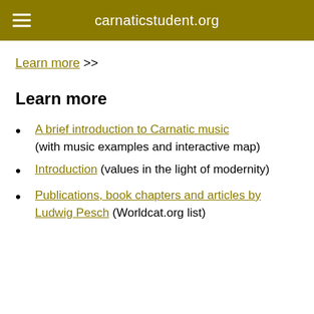carnaticstudent.org
Learn more >>
Learn more
A brief introduction to Carnatic music (with music examples and interactive map)
Introduction (values in the light of modernity)
Publications, book chapters and articles by Ludwig Pesch (Worldcat.org list)